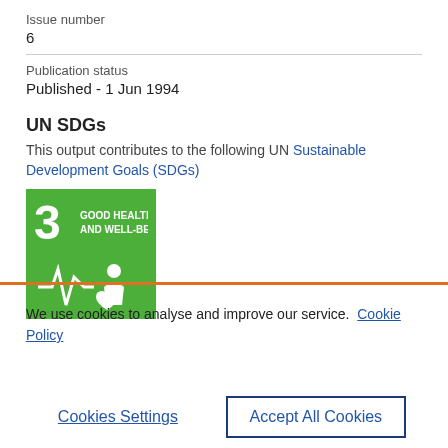Issue number
6
Publication status
Published - 1 Jun 1994
UN SDGs
This output contributes to the following UN Sustainable Development Goals (SDGs)
[Figure (logo): UN SDG 3 badge - Good Health and Well-Being, green background with number 3 and health icon]
We use cookies to analyse and improve our service. Cookie Policy
Cookies Settings
Accept All Cookies